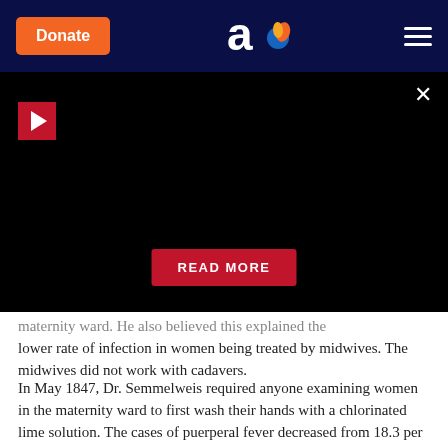[Figure (screenshot): Website navigation bar with orange Donate button, 'ao' logo with flame icon, and hamburger menu on dark navy background]
[Figure (screenshot): Black video panel with red play button in top left, X close button top right, and red READ MORE button centered at bottom]
maternity ward. He also believed this explained the lower rate of infection in women being treated by midwives. The midwives did not work with cadavers.
In May 1847, Dr. Semmelweis required anyone examining women in the maternity ward to first wash their hands with a chlorinated lime solution. The cases of puerperal fever decreased from 18.3 per cent in April 1847, the month before the hand-washing requirement was implemented, to 2.2 per cent in June,